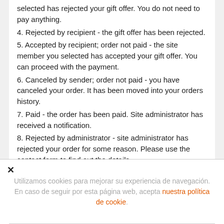selected has rejected your gift offer. You do not need to pay anything.
4. Rejected by recipient - the gift offer has been rejected.
5. Accepted by recipient; order not paid - the site member you selected has accepted your gift offer. You can proceed with the payment.
6. Canceled by sender; order not paid - you have canceled your order. It has been moved into your orders history.
7. Paid - the order has been paid. Site administrator has received a notification.
8. Rejected by administrator - site administrator has rejected your order for some reason. Please use the contact form to find out the details.
9. Shipping in process - your order has been sent and is on its
Utilizamos cookies para mejorar su experiencia de navegación. En caso de seguir por esta página web, acepta nuestra política de cookie.